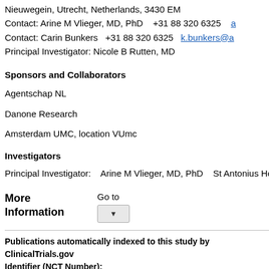Nieuwegein, Utrecht, Netherlands, 3430 EM
Contact: Arine M Vlieger, MD, PhD    +31 88 320 6325    a
Contact: Carin Bunkers    +31 88 320 6325    k.bunkers@a
Principal Investigator: Nicole B Rutten, MD
Sponsors and Collaborators
Agentschap NL
Danone Research
Amsterdam UMC, location VUmc
Investigators
Principal Investigator:    Arine M Vlieger, MD, PhD    St Antonius Ho
More Information
Go to
Publications automatically indexed to this study by ClinicalTrials.gov
Identifier (NCT Number):